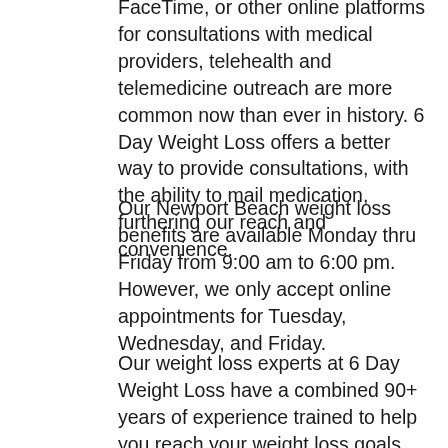FaceTime, or other online platforms for consultations with medical providers, telehealth and telemedicine outreach are more common now than ever in history. 6 Day Weight Loss offers a better way to provide consultations, with the ability to mail medication, furthering our reach and convenience.
Our Newport Beach weight loss benefits are available Monday thru Friday from 9:00 am to 6:00 pm. However, we only accept online appointments for Tuesday, Wednesday, and Friday.
Our weight loss experts at 6 Day Weight Loss have a combined 90+ years of experience trained to help you reach your weight loss goals and improve your overall